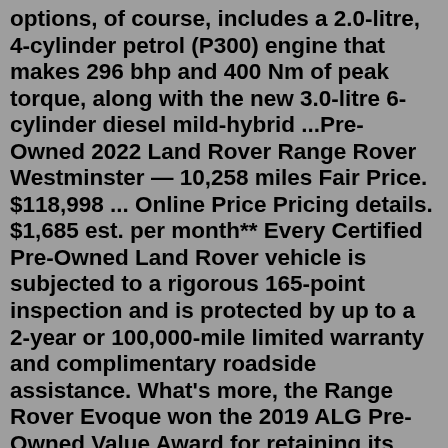options, of course, includes a 2.0-litre, 4-cylinder petrol (P300) engine that makes 296 bhp and 400 Nm of peak torque, along with the new 3.0-litre 6-cylinder diesel mild-hybrid ...Pre-Owned 2022 Land Rover Range Rover Westminster — 10,258 miles Fair Price. $118,998 ... Online Price Pricing details. $1,685 est. per month** Every Certified Pre-Owned Land Rover vehicle is subjected to a rigorous 165-point inspection and is protected by up to a 2-year or 100,000-mile limited warranty and complimentary roadside assistance. What's more, the Range Rover Evoque won the 2019 ALG Pre-Owned Value Award for retaining its value better than other vehicles in its class.* 343 listings. 2016 Land Rover Range Rover in Westminster, CA. 44 Great Deals. $28,676. 490 listings. 2015 Land Rover Range Rover in Westminster, CA. 12 Great Deals. $30,500. 187 listings.What People Are Paying. Prices shown are the prices people paid for a new 2021 Land Rover Range Rover Westminster SWB with standard options including dealer discounts, Taxes, fees (title...